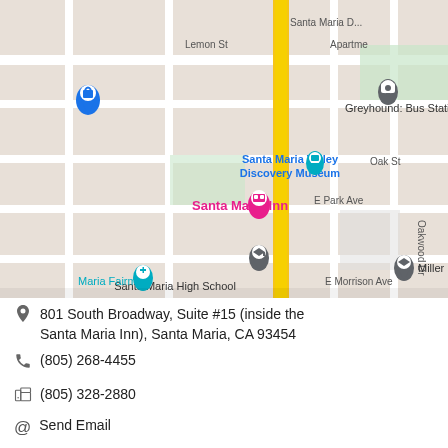[Figure (map): Google Maps screenshot showing streets around Santa Maria Inn at 801 South Broadway, Santa Maria, CA. Visible landmarks: Greyhound Bus Station, Santa Maria Valley Discovery Museum, Santa Maria Inn (pink marker), Santa Maria High School, E Park Ave, E Morrison Ave, E Camino Colegio, Oak St, Lemon St, Oakwood Dr. A yellow highlighted road (Broadway) runs vertically.]
801 South Broadway, Suite #15 (inside the Santa Maria Inn), Santa Maria, CA 93454
(805) 268-4455
(805) 328-2880
Send Email
www.cravellofinancialservices.com